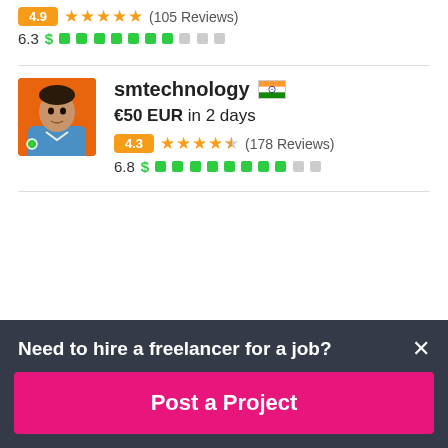4.9 ★★★★★ (105 Reviews)
6.3 $ ████████░░
smtechnology 🇮🇳
€50 EUR in 2 days
4.3 ★★★★½ (178 Reviews)
6.8 $ ████████░░
Need to hire a freelancer for a job?
Post a Project